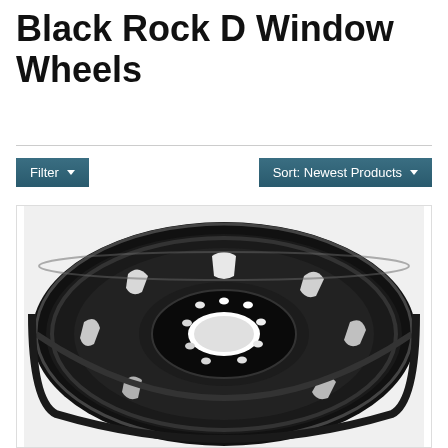Black Rock D Window Wheels
Filter ▾
Sort: Newest Products ▾
[Figure (photo): A matte black Black Rock D Window steel wheel viewed at a slight angle, showing D-shaped spoke cutouts arranged in a ring around a central hub with multiple lug bolt holes.]